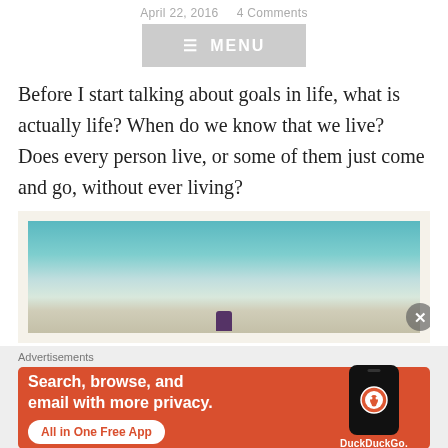April 22, 2016   4 Comments
[Figure (other): Navigation menu button with dashed border showing hamburger icon and MENU text]
Before I start talking about goals in life, what is actually life? When do we know that we live? Does every person live, or some of them just come and go, without ever living?
[Figure (photo): Polaroid-style photo showing a person sitting alone on what appears to be a beach or snowy landscape viewed from behind, with teal/green sky and muted tones]
Advertisements
[Figure (other): DuckDuckGo advertisement banner with orange/red background showing text: Search, browse, and email with more privacy. All in One Free App, with a phone graphic and DuckDuckGo logo]